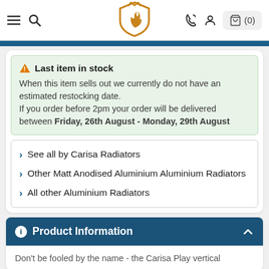Navigation bar with menu, search, logo, phone, account, and cart (0) icons
Last item in stock
When this item sells out we currently do not have an estimated restocking date.
If you order before 2pm your order will be delivered between Friday, 26th August - Monday, 29th August
See all by Carisa Radiators
Other Matt Anodised Aluminium Aluminium Radiators
All other Aluminium Radiators
Product Information
Don't be fooled by the name - the Carisa Play vertical